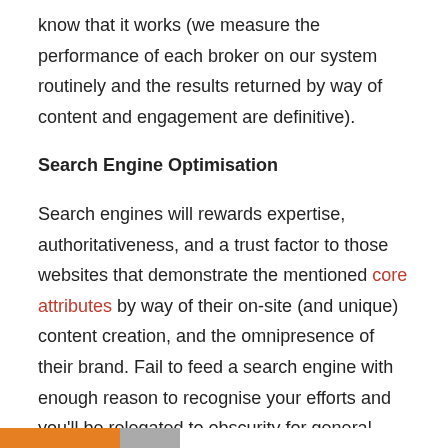know that it works (we measure the performance of each broker on our system routinely and the results returned by way of content and engagement are definitive).
Search Engine Optimisation
Search engines will rewards expertise, authoritativeness, and a trust factor to those websites that demonstrate the mentioned core attributes by way of their on-site (and unique) content creation, and the omnipresence of their brand. Fail to feed a search engine with enough reason to recognise your efforts and you'll be relegated to obscurity for general